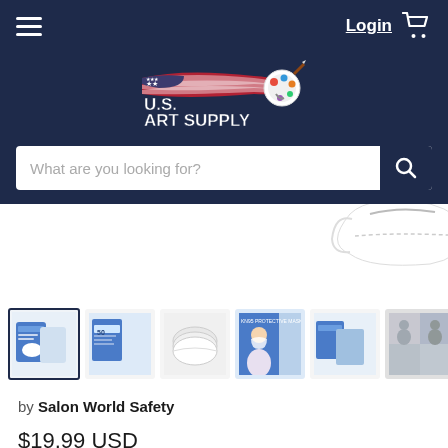Login  [cart icon]
[Figure (logo): U.S. Art Supply logo with American flag design and paint palette]
What are you looking for?
[Figure (photo): White KN95 protective face mask shown at upper right, partially cropped]
[Figure (photo): Thumbnail gallery of 6 product images: box with mask, product details, stacked masks, woman wearing mask, box set, people collage]
by Salon World Safety
$19.99 USD